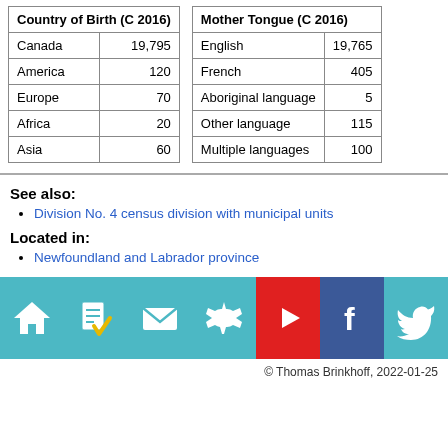| Country of Birth (C 2016) |  |
| --- | --- |
| Canada | 19,795 |
| America | 120 |
| Europe | 70 |
| Africa | 20 |
| Asia | 60 |
| Mother Tongue (C 2016) |  |
| --- | --- |
| English | 19,765 |
| French | 405 |
| Aboriginal language | 5 |
| Other language | 115 |
| Multiple languages | 100 |
See also:
Division No. 4 census division with municipal units
Located in:
Newfoundland and Labrador province
[Figure (infographic): Icon bar with home, checklist, mail, settings, YouTube play, Facebook, and Twitter icons]
© Thomas Brinkhoff, 2022-01-25